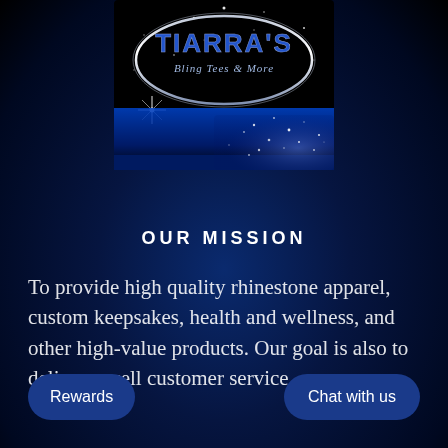[Figure (logo): Tiarra's Bling Tees & More logo — oval silver border with blue metallic text 'TIARRA'S' and script 'Bling Tees & More' on black background with sparkle/glitter effects and a blue shimmer band]
OUR MISSION
To provide high quality rhinestone apparel, custom keepsakes, health and wellness, and other high-value products. Our goal is also to deliver excell[ent] customer service.